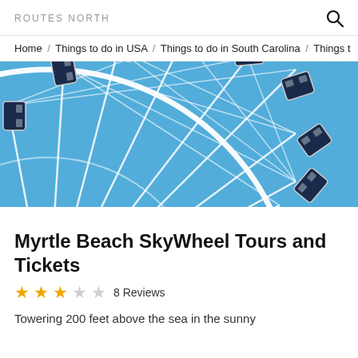ROUTES NORTH
Home / Things to do in USA / Things to do in South Carolina / Things t
[Figure (photo): Close-up photograph of a large Ferris wheel (SkyWheel) with dark blue gondola cars against a bright blue sky. The white structural spokes and rim of the wheel are prominently visible.]
Myrtle Beach SkyWheel Tours and Tickets
★★★☆☆ 8 Reviews
Towering 200 feet above the sea in the sunny